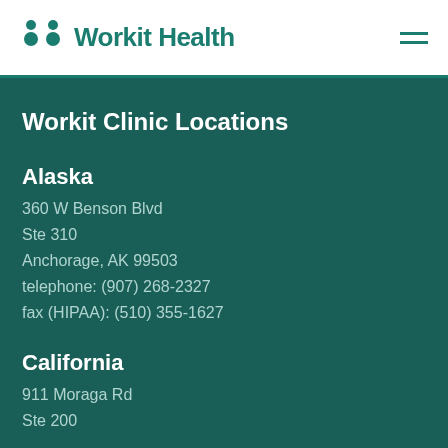Workit Health
Workit Clinic Locations
Alaska
360 W Benson Blvd
Ste 310
Anchorage, AK 99503
telephone: (907) 268-2327
fax (HIPAA): (510) 355-1627
California
911 Moraga Rd
Ste 200